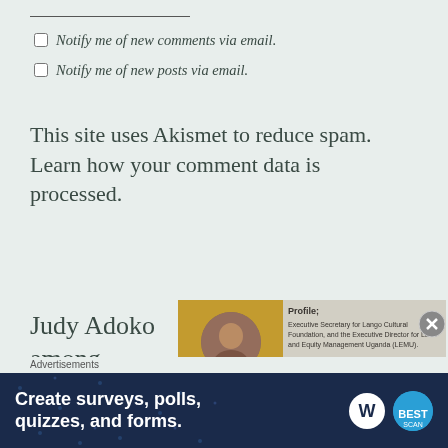Notify me of new comments via email.
Notify me of new posts via email.
This site uses Akismet to reduce spam. Learn how your comment data is processed.
Judy Adoko among powerful
[Figure (infographic): Profile card for Adoko Judy (Golden Jubilee). Executive Secretary for Lango Cultural Foundation, and the Executive Director for Land and Equity Management Uganda (LEMU). She has written several publications like; Land Matters in Displacement; The importance of land rights in Acholi land and what threatens them (2004). Land rights and displacement in Northern...]
Advertisements
[Figure (infographic): Advertisement banner: Create surveys, polls, quizzes, and forms. WordPress and SurveyMonkey logos.]